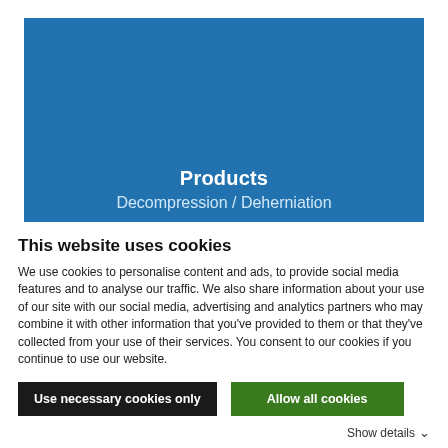[Figure (screenshot): Blue banner with 'Products' bold title and 'Decompression / Deherniation' subtitle in white text on a blue background]
This website uses cookies
We use cookies to personalise content and ads, to provide social media features and to analyse our traffic. We also share information about your use of our site with our social media, advertising and analytics partners who may combine it with other information that you've provided to them or that they've collected from your use of their services. You consent to our cookies if you continue to use our website.
Use necessary cookies only
Allow all cookies
Show details